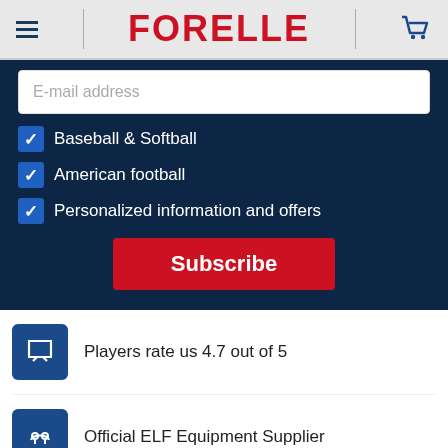FORELLE
E-mail address
Baseball & Softball
American football
Personalized information and offers
Subscribe
Players rate us 4.7 out of 5
Official ELF Equipment Supplier
20.000+ Shipments per year